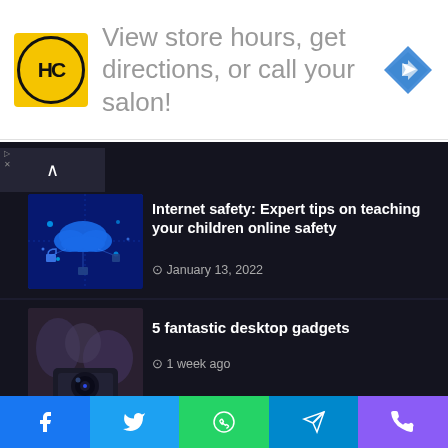[Figure (infographic): Ad banner: HC hair salon logo, text 'View store hours, get directions, or call your salon!', blue diamond navigation icon]
[Figure (photo): Article thumbnail: Internet/cloud safety concept with blue digital network and cloud]
Internet safety: Expert tips on teaching your children online safety
January 13, 2022
[Figure (photo): Article thumbnail: Desktop gadgets - projector on desk]
5 fantastic desktop gadgets
1 week ago
[Figure (illustration): Article thumbnail: Person with calculator and pencil illustration]
Amazing Tips to Calculate Your Monthly EMI using Personal Loan EMI Calculator!
February 22, 2022
Best Tag
[Figure (infographic): Social media share bar with Facebook, Twitter, WhatsApp, Telegram, Phone icons]